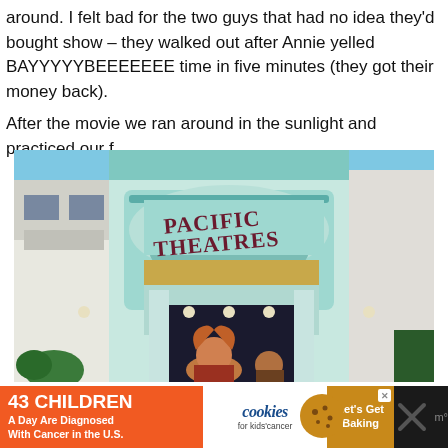around. I felt bad for the two guys that had no idea they'd bought show – they walked out after Annie yelled BAYYYYYBEEEEEEE time in five minutes (they got their money back).
After the movie we ran around in the sunlight and practiced our f
[Figure (photo): Exterior photo of Pacific Theatres building with art deco architecture in teal/mint color. Two people visible at the bottom of the image in front of the theatre entrance.]
[Figure (infographic): Advertisement banner: '43 CHILDREN A Day Are Diagnosed With Cancer in the U.S.' with Cookies for Kids' Cancer and Let's Get Baking logos.]